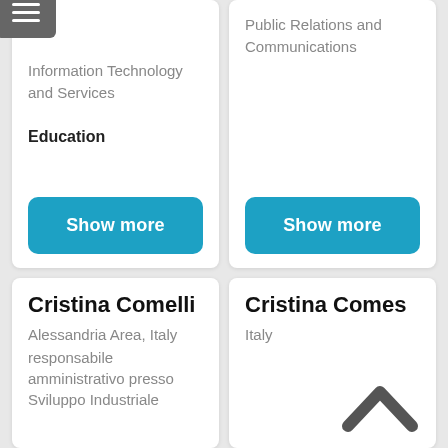Information Technology and Services
Public Relations and Communications
Education
Show more
Show more
Cristina Comelli
Cristina Comes
Alessandria Area, Italy
Italy
responsabile amministrativo presso Sviluppo Industriale